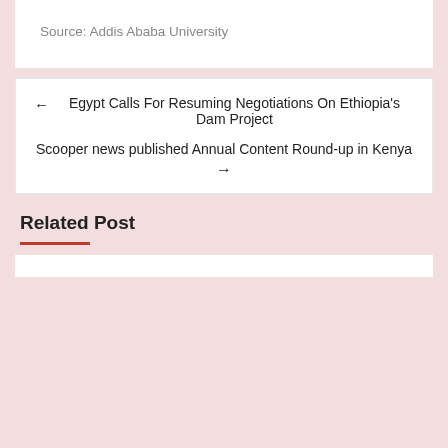Source: Addis Ababa University
← Egypt Calls For Resuming Negotiations On Ethiopia's Dam Project
Scooper news published Annual Content Round-up in Kenya →
Related Post